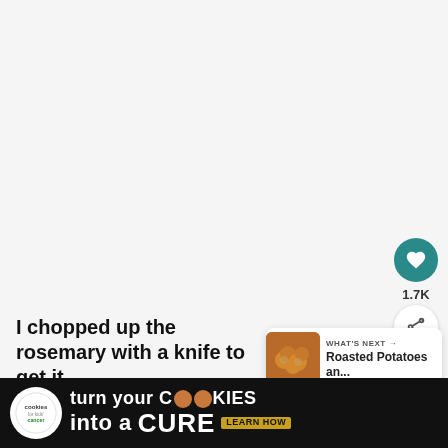[Figure (screenshot): Large white/light gray image area taking up most of the upper portion of the page]
[Figure (infographic): Teal circular heart/favorite button with heart icon]
1.7K
[Figure (infographic): White circular share button with share/network icon]
[Figure (infographic): What's Next card with thumbnail of roasted potatoes and text 'WHAT'S NEXT → Roasted Potatoes an...']
I chopped up the rosemary with a knife to get it
[Figure (infographic): Dark advertisement banner: 'turn your COOKIES into a CURE LEARN HOW' with cookies for kids cancer logo. Close button visible.]